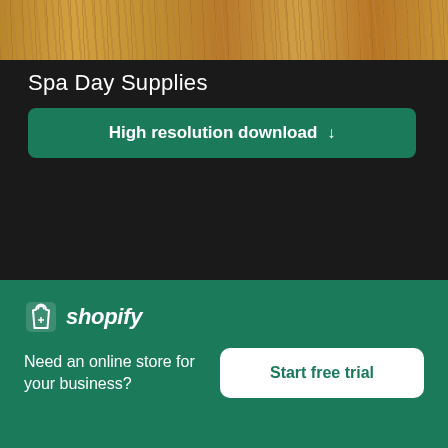[Figure (photo): Cropped top portion of a wooden surface photo with warm brown wood grain texture]
Spa Day Supplies
High resolution download ↓
[Figure (photo): Blurred outdoor photo with light grey sky and dark ground elements including a dark figure silhouette]
×
[Figure (logo): Shopify logo with shopping bag icon and italic wordmark]
Need an online store for your business?
Start free trial